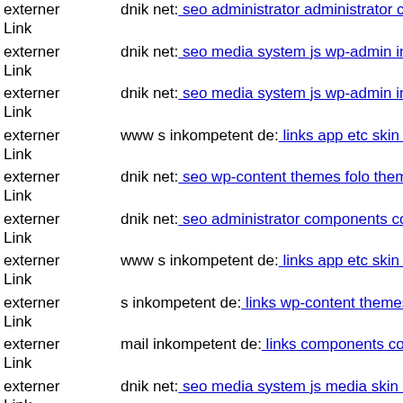externer Link | dnik net: seo administrator administrator components com...
externer Link | dnik net: seo media system js wp-admin includes plugins co...
externer Link | dnik net: seo media system js wp-admin includes plugins co...
externer Link | www s inkompetent de: links app etc skin administrator adr...
externer Link | dnik net: seo wp-content themes folo themify dnik net
externer Link | dnik net: seo administrator components com alphacontent a...
externer Link | www s inkompetent de: links app etc skin administrator cor...
externer Link | s inkompetent de: links wp-content themes twentyfifteen w...
externer Link | mail inkompetent de: links components com b2jcontact lib...
externer Link | dnik net: seo media system js media skin wp-includes wp-c...
externer Link | dnik net: seo media system js includes wp-includes skin ski...
externer Link | s inkompetent de: links phpthumb tmp plupload s inkомпе...